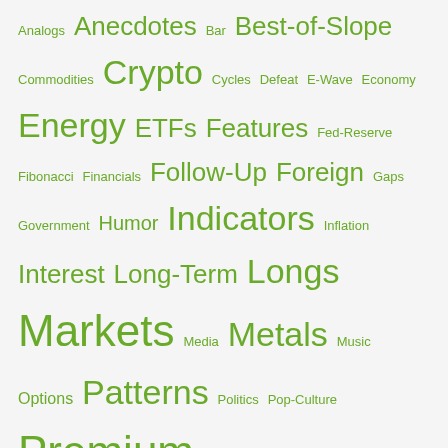Analogs Anecdotes Bar Best-of-Slope Commodities Crypto Cycles Defeat E-Wave Economy Energy ETFs Features Fed-Reserve Fibonacci Financials Follow-Up Foreign Gaps Government Humor Indicators Inflation Interest Long-Term Longs Markets Media Metals Music Options Patterns Politics Pop-Culture Premium Psychology Real-Estate Risk Sectors Sentiment Shorts SlopeCharts Snark Victory Video
[Figure (other): Red rounded rectangle button labeled 'Premium Access']
ARCHIVED POSTS
March 2020